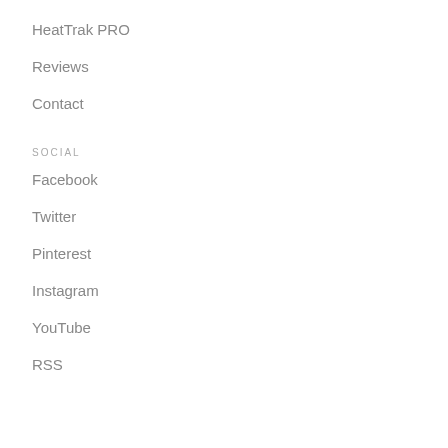HeatTrak PRO
Reviews
Contact
SOCIAL
Facebook
Twitter
Pinterest
Instagram
YouTube
RSS